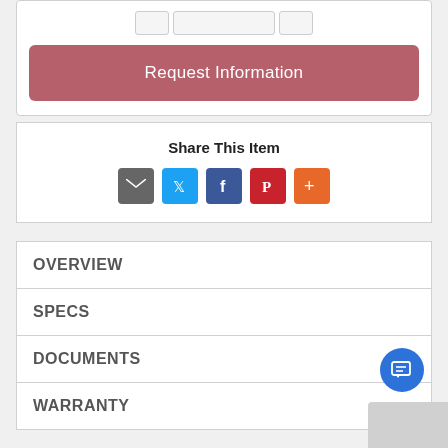[Figure (screenshot): Form input row with small and large input boxes at top]
Request Information
Share This Item
[Figure (infographic): Row of social share icons: Email (gray), Twitter (blue), Facebook (blue), Pinterest (red), More (orange)]
OVERVIEW
SPECS
DOCUMENTS
WARRANTY